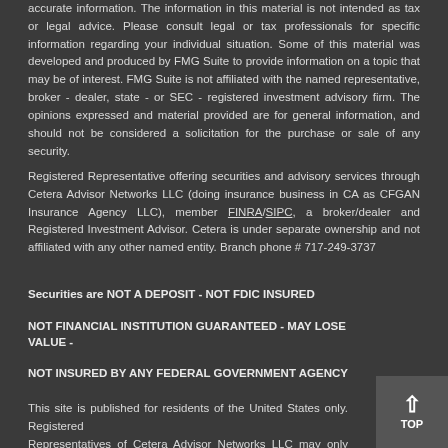accurate information. The information in this material is not intended as tax or legal advice. Please consult legal or tax professionals for specific information regarding your individual situation. Some of this material was developed and produced by FMG Suite to provide information on a topic that may be of interest. FMG Suite is not affiliated with the named representative, broker - dealer, state - or SEC - registered investment advisory firm. The opinions expressed and material provided are for general information, and should not be considered a solicitation for the purchase or sale of any security.
Registered Representative offering securities and advisory services through Cetera Advisor Networks LLC (doing insurance business in CA as CFGAN Insurance Agency LLC), member FINRA/SIPC, a broker/dealer and Registered Investment Advisor. Cetera is under separate ownership and not affiliated with any other named entity. Branch phone # 717-249-3737
Securities are NOT A DEPOSIT - NOT FDIC INSURED
NOT FINANCIAL INSTITUTION GUARANTEED - MAY LOSE VALUE -
NOT INSURED BY ANY FEDERAL GOVERNMENT AGENCY
This site is published for residents of the United States only. Registered Representatives of Cetera Advisor Networks LLC may only conduct